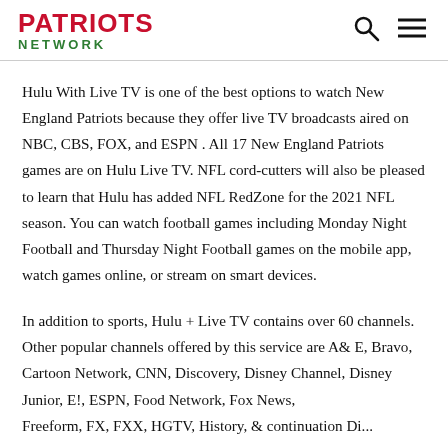PATRIOTS NETWORK
Hulu With Live TV is one of the best options to watch New England Patriots because they offer live TV broadcasts aired on NBC, CBS, FOX, and ESPN . All 17 New England Patriots games are on Hulu Live TV. NFL cord-cutters will also be pleased to learn that Hulu has added NFL RedZone for the 2021 NFL season. You can watch football games including Monday Night Football and Thursday Night Football games on the mobile app, watch games online, or stream on smart devices.
In addition to sports, Hulu + Live TV contains over 60 channels. Other popular channels offered by this service are A& E, Bravo, Cartoon Network, CNN, Discovery, Disney Channel, Disney Junior, E!, ESPN, Food Network, Fox News, Freeform, FX, FXX, HGTV, History, & continuation Disney...